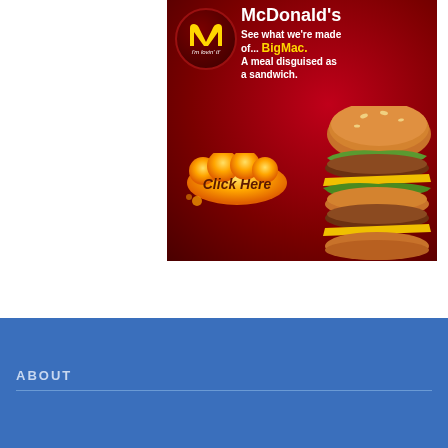[Figure (illustration): McDonald's Big Mac advertisement banner. Dark red background with McDonald's golden arches logo in a dark circle with 'i'm lovin' it' text. Text reads: 'McDonald's See what we're made of... BigMac. A meal disguised as a sandwich.' An orange cloud-shaped 'Click Here' button is on the lower left, and a Big Mac burger photo is on the right side.]
ABOUT